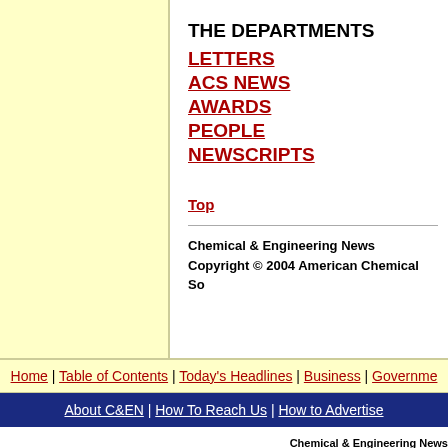THE DEPARTMENTS
LETTERS
ACS NEWS
AWARDS
PEOPLE
NEWSCRIPTS
Top
Chemical & Engineering News
Copyright © 2004 American Chemical So
Home | Table of Contents | Today's Headlines | Business | Governme
About C&EN | How To Reach Us | How to Advertise
Chemical & Engineering News
Copyright © 2004 American Chemical Society.
• (202) 872-4600 • (800) 227-55